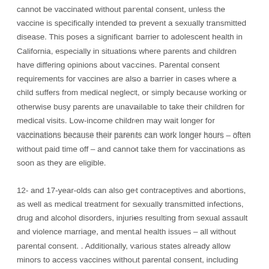cannot be vaccinated without parental consent, unless the vaccine is specifically intended to prevent a sexually transmitted disease. This poses a significant barrier to adolescent health in California, especially in situations where parents and children have differing opinions about vaccines. Parental consent requirements for vaccines are also a barrier in cases where a child suffers from medical neglect, or simply because working or otherwise busy parents are unavailable to take their children for medical visits. Low-income children may wait longer for vaccinations because their parents can work longer hours – often without paid time off – and cannot take them for vaccinations as soon as they are eligible.
12- and 17-year-olds can also get contraceptives and abortions, as well as medical treatment for sexually transmitted infections, drug and alcohol disorders, injuries resulting from sexual assault and violence marriage, and mental health issues – all without parental consent. . Additionally, various states already allow minors to access vaccines without parental consent, including Alabama, South